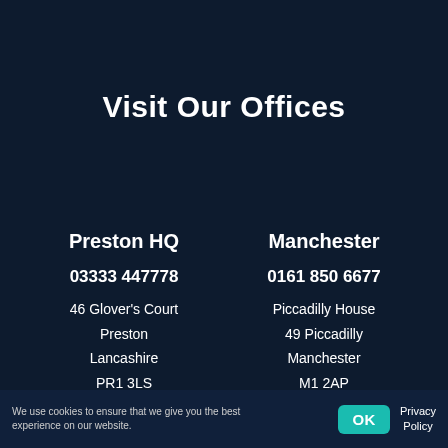Visit Our Offices
Preston HQ
03333 447778
46 Glover's Court
Preston
Lancashire
PR1 3LS
Manchester
0161 850 6677
Piccadilly House
49 Piccadilly
Manchester
M1 2AP
We use cookies to ensure that we give you the best experience on our website.
OK
Privacy Policy